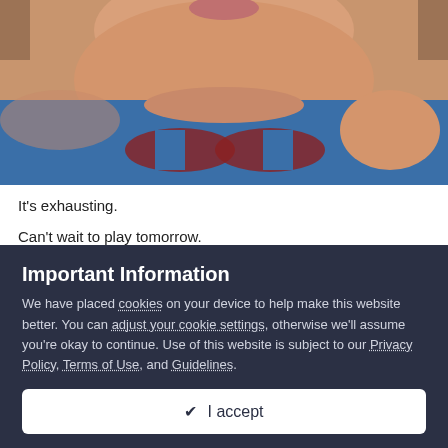[Figure (photo): Close-up photo of a young child/baby wearing a blue shirt with a graphic print, viewed from the chin down showing chubby cheeks and chest.]
It's exhausting.
Can't wait to play tomorrow.
Important Information
We have placed cookies on your device to help make this website better. You can adjust your cookie settings, otherwise we'll assume you're okay to continue. Use of this website is subject to our Privacy Policy, Terms of Use, and Guidelines.
✔  I accept